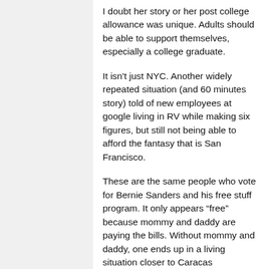I doubt her story or her post college allowance was unique. Adults should be able to support themselves, especially a college graduate.
It isn't just NYC. Another widely repeated situation (and 60 minutes story) told of new employees at google living in RV while making six figures, but still not being able to afford the fantasy that is San Francisco.
These are the same people who vote for Bernie Sanders and his free stuff program. It only appears “free” because mommy and daddy are paying the bills. Without mommy and daddy, one ends up in a living situation closer to Caracas